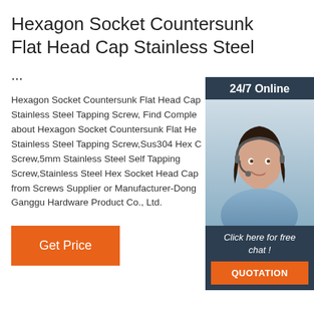Hexagon Socket Countersunk Flat Head Cap Stainless Steel
...
Hexagon Socket Countersunk Flat Head Cap Stainless Steel Tapping Screw, Find Complete details about Hexagon Socket Countersunk Flat Head Cap Stainless Steel Tapping Screw,Sus304 Hex Cap Screw,5mm Stainless Steel Self Tapping Screw,Stainless Steel Hex Socket Head Cap from Screws Supplier or Manufacturer-Donguan Ganggu Hardware Product Co., Ltd.
[Figure (photo): Customer service representative with headset, 24/7 Online chat widget with quotation button]
Get Price